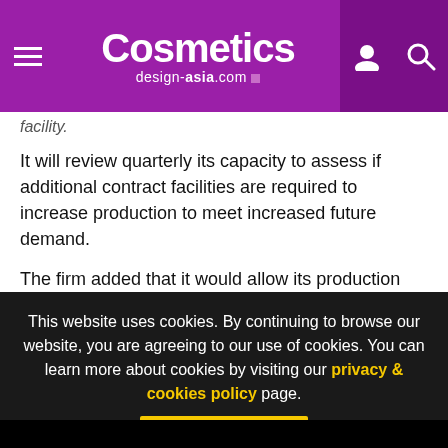Cosmetics design-asia.com
facility.
It will review quarterly its capacity to assess if additional contract facilities are required to increase production to meet increased future demand.
The firm added that it would allow its production outputs to be independently verified by auditors of Holista or GICC auditors.
Invisi Shield Natural is set to launch Australia and New Zealand this month as part of an accelerated collaboration between
This website uses cookies. By continuing to browse our website, you are agreeing to our use of cookies. You can learn more about cookies by visiting our privacy & cookies policy page.